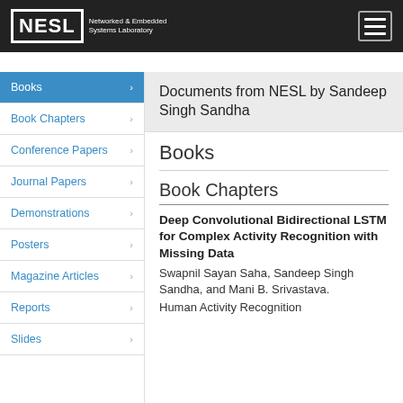NESL Networked & Embedded Systems Laboratory
Books
Book Chapters
Conference Papers
Journal Papers
Demonstrations
Posters
Magazine Articles
Reports
Slides
Documents from NESL by Sandeep Singh Sandha
Books
Book Chapters
Deep Convolutional Bidirectional LSTM for Complex Activity Recognition with Missing Data
Swapnil Sayan Saha, Sandeep Singh Sandha, and Mani B. Srivastava.
Human Activity Recognition